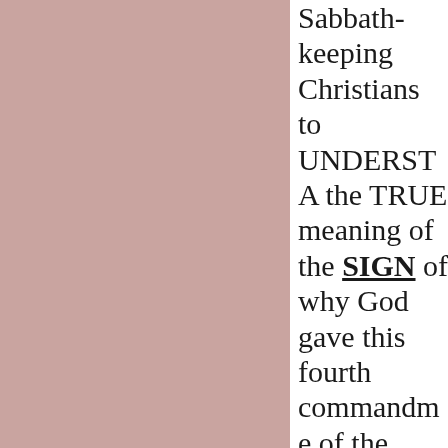Sabbath-keeping Christians to UNDERSTAND the TRUE meaning of the SIGN of why God gave this fourth commandment of the weekly